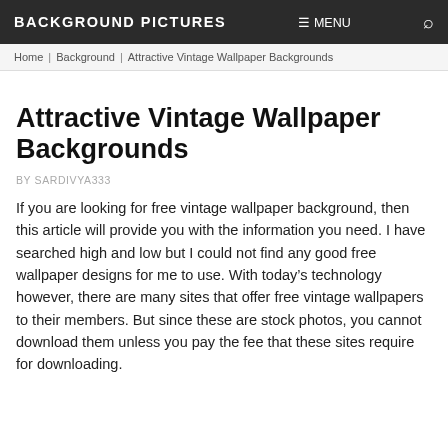BACKGROUND PICTURES   MENU   🔍
Home | Background | Attractive Vintage Wallpaper Backgrounds
Attractive Vintage Wallpaper Backgrounds
BY SARDIVYA333
If you are looking for free vintage wallpaper background, then this article will provide you with the information you need. I have searched high and low but I could not find any good free wallpaper designs for me to use. With today's technology however, there are many sites that offer free vintage wallpapers to their members. But since these are stock photos, you cannot download them unless you pay the fee that these sites require for downloading.